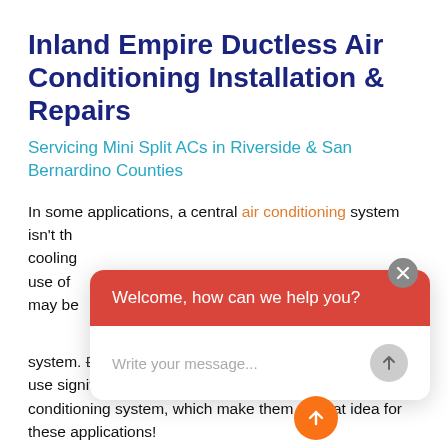Inland Empire Ductless Air Conditioning Installation & Repairs
Servicing Mini Split ACs in Riverside & San Bernardino Counties
In some applications, a central air conditioning system isn't th[e best option for] cooling [a home. The] use of [ductless systems] may be [a better option for your] system. Ductless systems are small, inexpensive, and use significantly less energy than a full-size central air conditioning system, which make them a great idea for these applications!
[Figure (screenshot): Chat popup widget with red header reading 'Welcome, how can we help you?' and an input field with placeholder 'Write your message...' and a send button, overlaying the body text.]